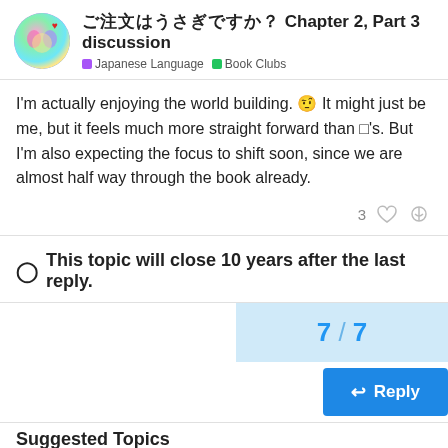ご注文はうさぎですか？ Chapter 2, Part 3 discussion — Japanese Language | Book Clubs
I'm actually enjoying the world building. 🤨 It might just be me, but it feels much more straight forward than □'s. But I'm also expecting the focus to shift soon, since we are almost half way through the book already.
⊙ This topic will close 10 years after the last reply.
7 / 7
Reply
Suggested Topics
□□□□□□□□□□□ 🐵 (Intermediate Book Club) — Book Clubs — 52 — 7d